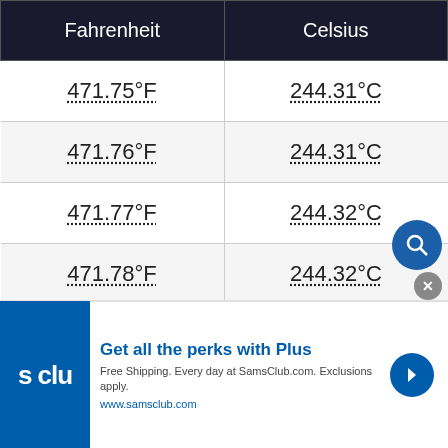| Fahrenheit | Celsius |
| --- | --- |
| 471.75°F | 244.31°C |
| 471.76°F | 244.31°C |
| 471.77°F | 244.32°C |
| 471.78°F | 244.32°C |
| 471.79°F | 244.33°C |
| 471.8°F | 244.33°C |
| 471.81°F | 244.34°C |